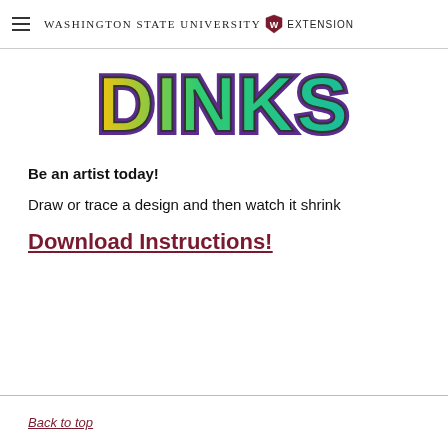Washington State University Extension
[Figure (illustration): Colorful cartoon-style 'DINKS' logo text in yellow, green, teal, purple gradient colors with bold outlined letters, partially cropped at top]
Be an artist today!
Draw or trace a design and then watch it shrink
Download Instructions!
Back to top